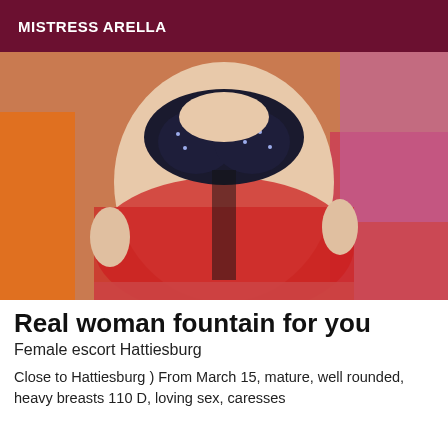MISTRESS ARELLA
[Figure (photo): Woman in red sheer lingerie dress with black studded bra top, sitting on orange and red bedding, photographed from neck to knees]
Real woman fountain for you
Female escort Hattiesburg
Close to Hattiesburg ) From March 15, mature, well rounded, heavy breasts 110 D, loving sex, caresses